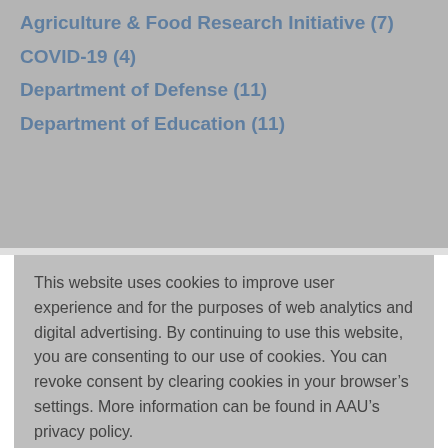Agriculture & Food Research Initiative (7)
COVID-19 (4)
Department of Defense (11)
Department of Education (11)
This website uses cookies to improve user experience and for the purposes of web analytics and digital advertising. By continuing to use this website, you are consenting to our use of cookies. You can revoke consent by clearing cookies in your browser’s settings. More information can be found in AAU’s privacy policy.
COOKIE SETTINGS
ACCEPT ALL